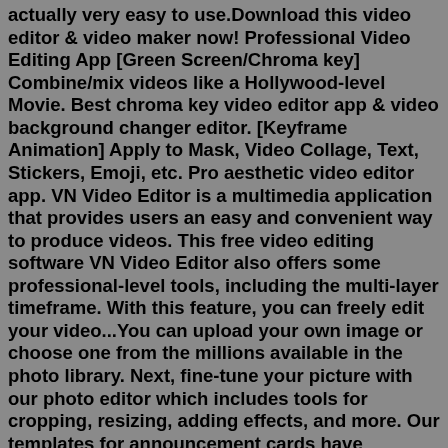actually very easy to use.Download this video editor & video maker now! Professional Video Editing App [Green Screen/Chroma key] Combine/mix videos like a Hollywood-level Movie. Best chroma key video editor app & video background changer editor. [Keyframe Animation] Apply to Mask, Video Collage, Text, Stickers, Emoji, etc. Pro aesthetic video editor app. VN Video Editor is a multimedia application that provides users an easy and convenient way to produce videos. This free video editing software VN Video Editor also offers some professional-level tools, including the multi-layer timeframe. With this feature, you can freely edit your video...You can upload your own image or choose one from the millions available in the photo library. Next, fine-tune your picture with our photo editor which includes tools for cropping, resizing, adding effects, and more. Our templates for announcement cards have accompanying text that is easy to replace with your own words. Books & Reference Business Comics